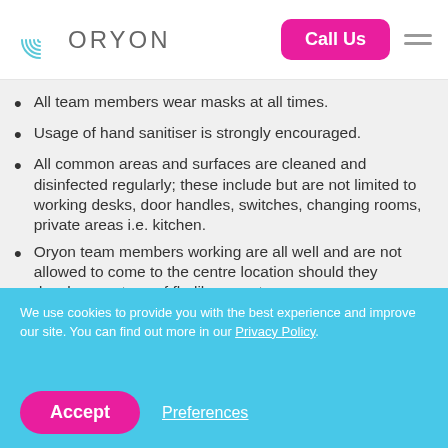ORYON | Call Us
All team members wear masks at all times.
Usage of hand sanitiser is strongly encouraged.
All common areas and surfaces are cleaned and disinfected regularly; these include but are not limited to working desks, door handles, switches, changing rooms, private areas i.e. kitchen.
Oryon team members working are all well and are not allowed to come to the centre location should they develop any type of flu-like symptoms.
We use cookies to provide you with the best experience and improve our site. You can find out more in our Privacy Policy.
Accept | Preferences